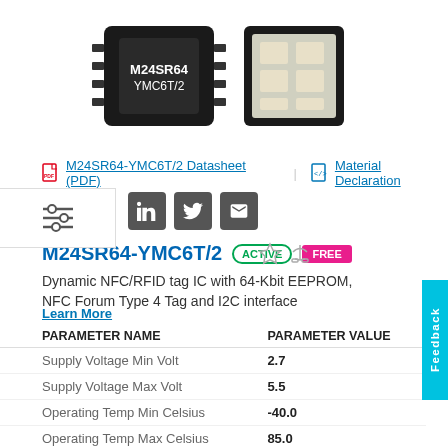[Figure (photo): Two M24SR64-YMC6T/2 IC chip photographs: one showing the top label, one showing the metal pads underside]
M24SR64-YMC6T/2 Datasheet (PDF)    Material Declaration
M24SR64-YMC6T/2   ACTIVE   FREE
Dynamic NFC/RFID tag IC with 64-Kbit EEPROM, NFC Forum Type 4 Tag and I2C interface
Learn More
| PARAMETER NAME | PARAMETER VALUE |
| --- | --- |
| Supply Voltage Min Volt | 2.7 |
| Supply Voltage Max Volt | 5.5 |
| Operating Temp Min Celsius | -40.0 |
| Operating Temp Max Celsius | 85.0 |
| ECCN US | EAR99 |
| ECCN EU | NEC |
| Packing Type | Tape And Reel |
| RoHS compliance | Ecopack 2 |